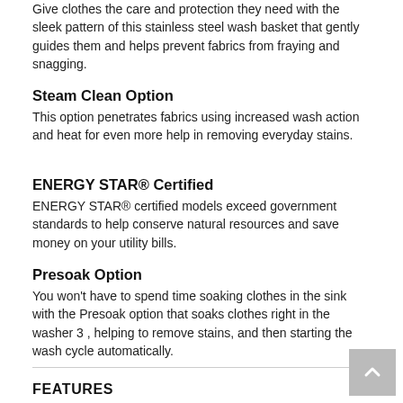Give clothes the care and protection they need with the sleek pattern of this stainless steel wash basket that gently guides them and helps prevent fabrics from fraying and snagging.
Steam Clean Option
This option penetrates fabrics using increased wash action and heat for even more help in removing everyday stains.
ENERGY STAR® Certified
ENERGY STAR® certified models exceed government standards to help conserve natural resources and save money on your utility bills.
Presoak Option
You won't have to spend time soaking clothes in the sink with the Presoak option that soaks clothes right in the washer 3 , helping to remove stains, and then starting the wash cycle automatically.
FEATURES